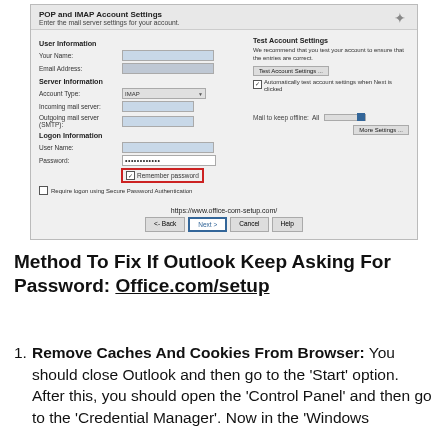[Figure (screenshot): Outlook POP and IMAP Account Settings dialog showing User Information, Server Information, Logon Information fields, with 'Remember password' checkbox highlighted in red box, and Test Account Settings panel on the right. URL https://www.office-com-setup.com/ shown at bottom.]
Method To Fix If Outlook Keep Asking For Password: Office.com/setup
Remove Caches And Cookies From Browser: You should close Outlook and then go to the 'Start' option. After this, you should open the 'Control Panel' and then go to the 'Credential Manager'. Now in the 'Windows